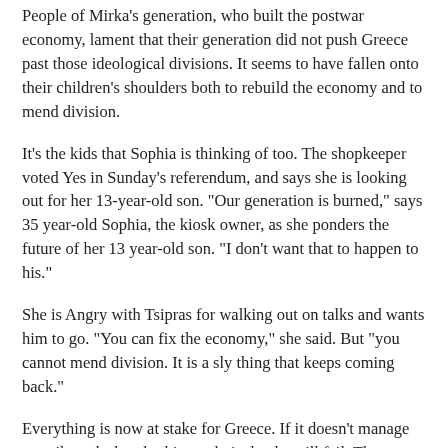People of Mirka's generation, who built the postwar economy, lament that their generation did not push Greece past those ideological divisions. It seems to have fallen onto their children's shoulders both to rebuild the economy and to mend division.
It's the kids that Sophia is thinking of too. The shopkeeper voted Yes in Sunday's referendum, and says she is looking out for her 13-year-old son. "Our generation is burned," says 35 year-old Sophia, the kiosk owner, as she ponders the future of her 13 year-old son. "I don't want that to happen to his."
She is Angry with Tsipras for walking out on talks and wants him to go. "You can fix the economy," she said. But "you cannot mend division. It is a sly thing that keeps coming back."
Everything is now at stake for Greece. If it doesn't manage to strike a deal early this week, its banks will fail. The treasury is empty, meaning taxes cannot abate; and without bank credit or tax breaks, many companies will disintegrate.
Despite the forbidding warnings from creditors and the divisiveness of the referendum, its strong result has brought a